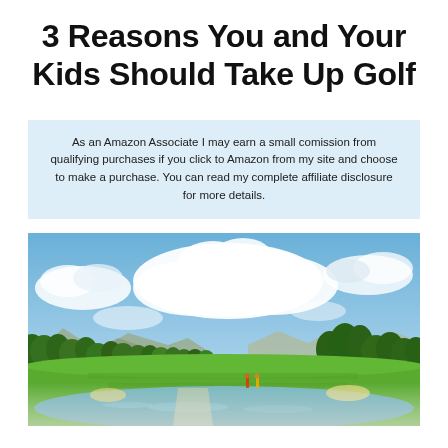3 Reasons You and Your Kids Should Take Up Golf
As an Amazon Associate I may earn a small comission from qualifying purchases if you click to Amazon from my site and choose to make a purchase. You can read my complete affiliate disclosure for more details.
[Figure (photo): A panoramic photograph of a golf course with lush green fairways, a water hazard in the foreground, trees and mountains in the background, and a partly cloudy blue sky above.]